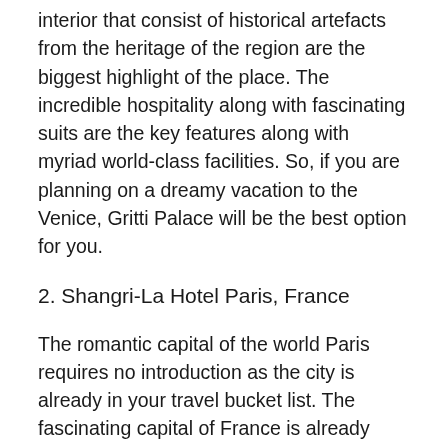interior that consist of historical artefacts from the heritage of the region are the biggest highlight of the place. The incredible hospitality along with fascinating suits are the key features along with myriad world-class facilities. So, if you are planning on a dreamy vacation to the Venice, Gritti Palace will be the best option for you.
2. Shangri-La Hotel Paris, France
The romantic capital of the world Paris requires no introduction as the city is already in your travel bucket list. The fascinating capital of France is already having an image for being dreamy as well as expensive enough itself, but when we speak of the best romantic hotel, Paris raises the bar manifolds as you have to choose from the best of the best. Hence, Shangri-La Hotel Paris has been a tremendous place for everyone. Incepted as a private mansion in its early days. This 101-roomed property is a thriving place featured with the classic